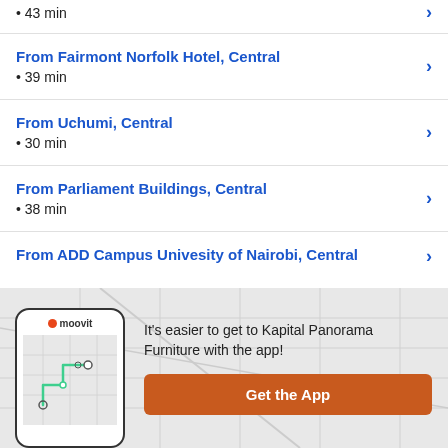• 43 min
From Fairmont Norfolk Hotel, Central
• 39 min
From Uchumi, Central
• 30 min
From Parliament Buildings, Central
• 38 min
From ADD Campus Univesity of Nairobi, Central
[Figure (screenshot): Moovit app banner with phone mockup showing map route and 'Get the App' button. Text: It's easier to get to Kapital Panorama Furniture with the app!]